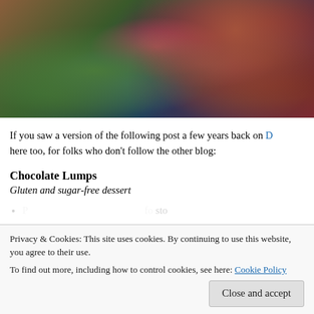[Figure (photo): Close-up photograph of chocolate lumps served on a decorative floral plate with colorful paisley and flower patterns, with a green leaf-patterned tablecloth visible underneath.]
If you saw a version of the following post a few years back on [link], here too, for folks who don't follow the other blog:
Chocolate Lumps
Gluten and sugar-free dessert
• [partially visible text] ...sto...
Privacy & Cookies: This site uses cookies. By continuing to use this website, you agree to their use.
To find out more, including how to control cookies, see here: Cookie Policy
season for other people.